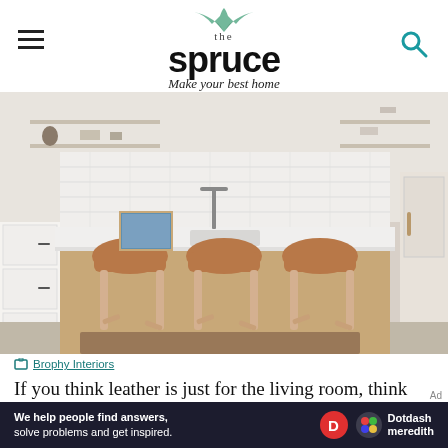the spruce — Make your best home
[Figure (photo): A modern kitchen with white cabinets and subway tile backsplash, featuring a wood-paneled island with three tan/cognac leather bar stools with light wood legs, open shelving with dishware, and a sink with pot filler faucet.]
Brophy Interiors
If you think leather is just for the living room, think again. This kitchen designed by Brophy Interiors not only features wicker lighting
[Figure (infographic): Ad banner: 'We help people find answers, solve problems and get inspired.' with Dotdash Meredith logo]